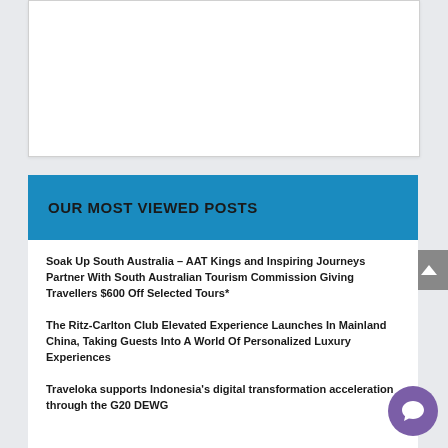[Figure (other): White card/image placeholder area at top of page]
OUR MOST VIEWED POSTS
Soak Up South Australia – AAT Kings and Inspiring Journeys Partner With South Australian Tourism Commission Giving Travellers $600 Off Selected Tours*
The Ritz-Carlton Club Elevated Experience Launches In Mainland China, Taking Guests Into A World Of Personalized Luxury Experiences
Traveloka supports Indonesia's digital transformation acceleration through the G20 DEWG